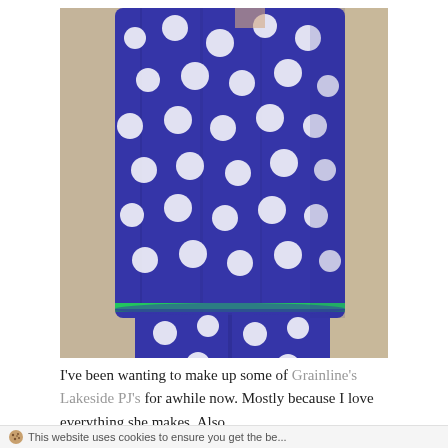[Figure (photo): Person wearing blue and white polka dot pajama set (sleeveless top and shorts) with green trim, photographed from mid-torso down against a beige wall background.]
I've been wanting to make up some of Grainline's Lakeside PJ's for awhile now. Mostly because I love everything she makes. Also
This website uses cookies to ensure you get the be...